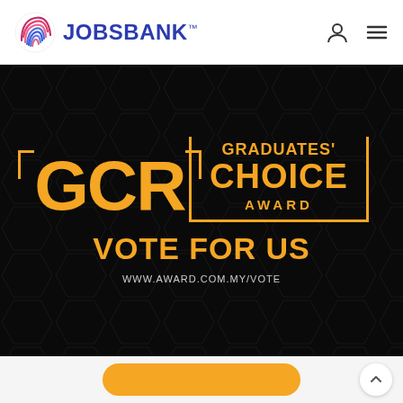JOBSBANK™
[Figure (illustration): GCR Graduates' Choice Award promotional banner on black background with golden text and decorative bracket frame. Text reads: GCR GRADUATES' CHOICE AWARD VOTE FOR US www.award.com.my/vote]
[Figure (other): Yellow vote button partially visible at bottom of page]